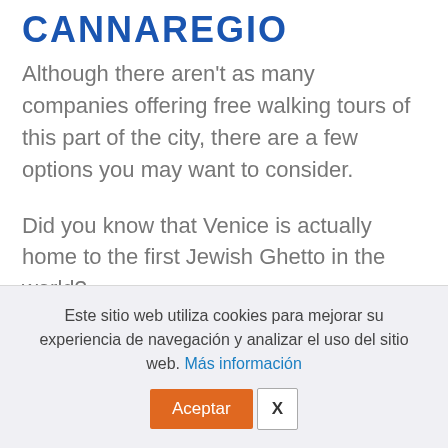CANNAREGIO
Although there aren't as many companies offering free walking tours of this part of the city, there are a few options you may want to consider.
Did you know that Venice is actually home to the first Jewish Ghetto in the world?
Este sitio web utiliza cookies para mejorar su experiencia de navegación y analizar el uso del sitio web. Más información
Aceptar  X